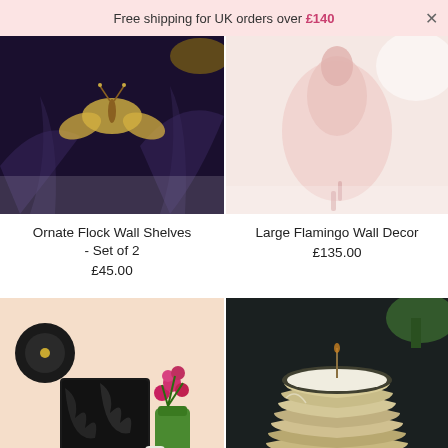Free shipping for UK orders over £140
[Figure (photo): Ornate flock wall shelves product image with gold butterfly motif on dark background]
Ornate Flock Wall Shelves - Set of 2
£45.00
[Figure (photo): Large flamingo wall decor product image in pink/rose tones]
Large Flamingo Wall Decor
£135.00
[Figure (photo): Wall decor product image showing dark feathery panels and green vase with flowers on pink wall]
[Figure (photo): Silver/gold metallic ribbed candle holder with white candle, dark background]